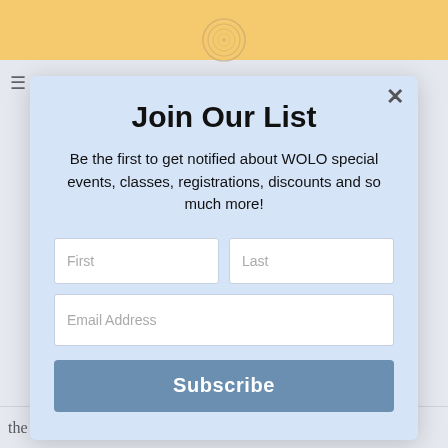[Figure (logo): Circular spiral logo at top center of page]
Join Our List
Be the first to get notified about WOLO special events, classes, registrations, discounts and so much more!
First
Last
Email Address
Subscribe
the first day of the camp, we talk to the children about